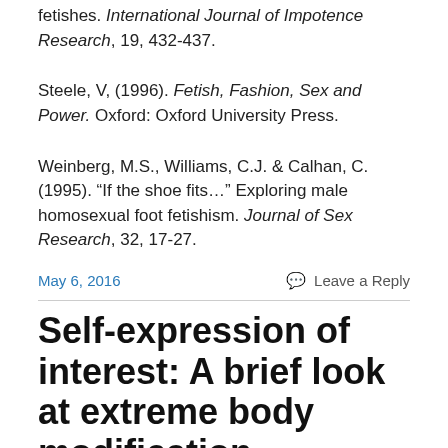fetishes. International Journal of Impotence Research, 19, 432-437.
Steele, V, (1996). Fetish, Fashion, Sex and Power. Oxford: Oxford University Press.
Weinberg, M.S., Williams, C.J. & Calhan, C. (1995). “If the shoe fits…” Exploring male homosexual foot fetishism. Journal of Sex Research, 32, 17-27.
May 6, 2016
Leave a Reply
Self-expression of interest: A brief look at extreme body modification